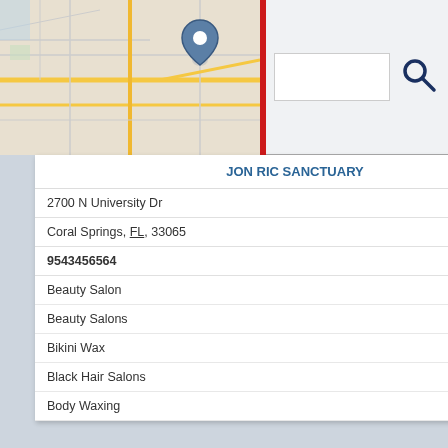[Figure (screenshot): Search bar interface with map thumbnail on left, red vertical divider, white search input box, and dark blue search/magnifier icon on right]
[Figure (map): Map thumbnail showing street map with blue location pin marker for Jon Ric Sanctuary in Coral Springs FL area]
JON RIC SANCTUARY
2700 N University Dr
Coral Springs, FL, 33065
9543456564
Beauty Salon
Beauty Salons
Bikini Wax
Black Hair Salons
Body Waxing
[Figure (map): Map thumbnail showing street map with blue location pin marker for Jonathan Reed Boys Clothing in Coral Springs FL area]
JONATHAN REED BOYS CLOTHING
5695 Coral Ridge Dr
Coral Springs, FL, 33076
9543462533